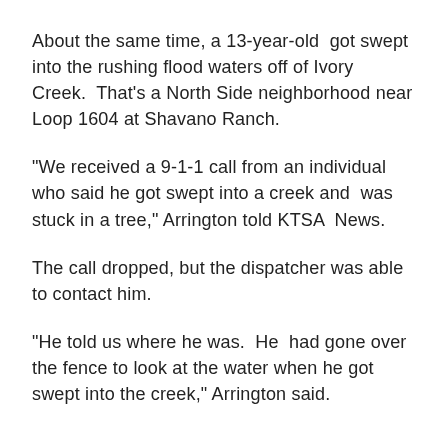About the same time, a 13-year-old got swept into the rushing flood waters off of Ivory Creek. That's a North Side neighborhood near Loop 1604 at Shavano Ranch.
“We received a 9-1-1 call from an individual who said he got swept into a creek and was stuck in a tree,” Arrington told KTSA News.
The call dropped, but the dispatcher was able to contact him.
“He told us where he was. He had gone over the fence to look at the water when he got swept into the creek,” Arrington said.